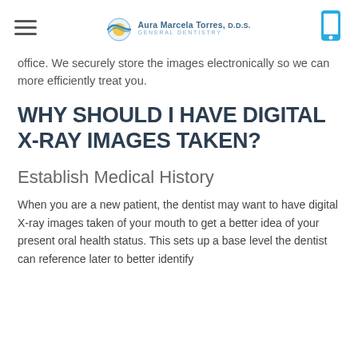Aura Marcela Torres, D.D.S. General Dentistry
office. We securely store the images electronically so we can more efficiently treat you.
WHY SHOULD I HAVE DIGITAL X-RAY IMAGES TAKEN?
Establish Medical History
When you are a new patient, the dentist may want to have digital X-ray images taken of your mouth to get a better idea of your present oral health status. This sets up a base level the dentist can reference later to better identify